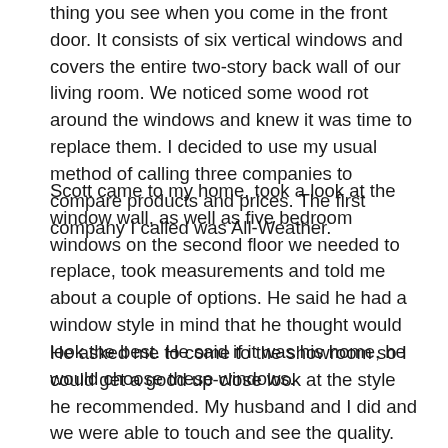thing you see when you come in the front door. It consists of six vertical windows and covers the entire two-story back wall of our living room. We noticed some wood rot around the windows and knew it was time to replace them. I decided to use my usual method of calling three companies to compare products and prices. The first company I called was All-Weather.
Scott came to my home, took a look at the window wall, as well as five bedroom windows on the second floor we needed to replace, took measurements and told me about a couple of options. He said he had a window style in mind that he thought would look the best. He said if it was his home, he would choose these windows.
He asked me to come to the showroom so I could get a good up-close look at the style he recommended. My husband and I did and we were able to touch and see the quality. The Andersen windows were very heavy and